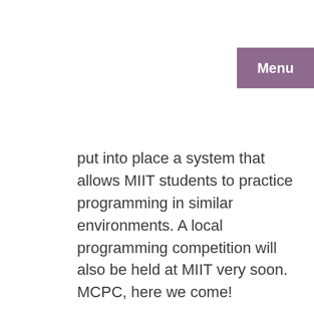Menu
put into place a system that allows MIIT students to practice programming in similar environments. A local programming competition will also be held at MIIT very soon. MCPC, here we come!